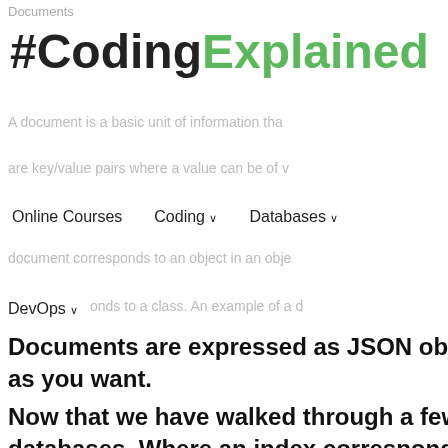Documents
#CodingExplained
A document is a basic unit of information tha...
are key/value pairs where a value can be of v...
Online Courses   Coding ∨   Databases ∨
document corresponds to an object in an obje...
DevOps ∨
typ...onds to a class. An example of a d...
Documents are expressed as JSON objects, and... as you want.
Now that we have walked through a few conc... databases. Where an index corresponds to a d... document can be thought of as being the equi... document correspond to columns, and a map...